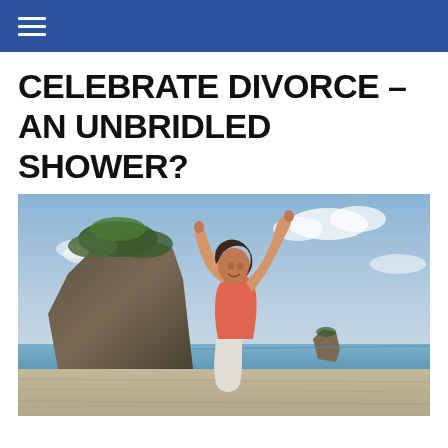≡
CELEBRATE DIVORCE – AN UNBRIDLED SHOWER?
[Figure (photo): A woman on a beach with arms raised joyfully in a victorious pose, wearing a coral/pink tank top. In the background there is a large rocky cliff formation and the sea under a partly cloudy sky.]